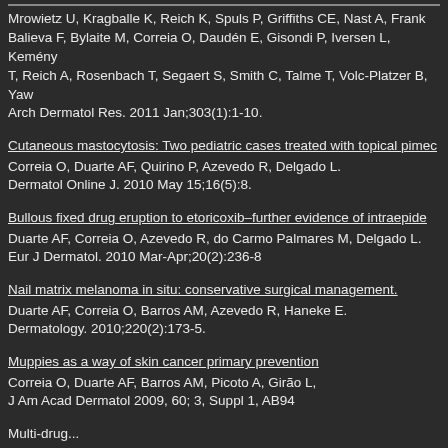Mrowietz U, Kragballe K, Reich K, Spuls P, Griffiths CE, Nast A, Frank... Balieva F, Bylaite M, Correia O, Daudén E, Gisondi P, Iversen L, Kemény... T, Reich A, Rosenbach T, Segaert S, Smith C, Talme T, Volc-Platzer B, Yaw... Arch Dermatol Res. 2011 Jan;303(1):1-10.
Cutaneous mastocytosis: Two pediatric cases treated with topical pimec... Correia O, Duarte AF, Quirino P, Azevedo R, Delgado L. Dermatol Online J. 2010 May 15;16(5):8.
Bullous fixed drug eruption to etoricoxib–further evidence of intraepide... Duarte AF, Correia O, Azevedo R, do Carmo Palmares M, Delgado L. Eur J Dermatol. 2010 Mar-Apr;20(2):236-8
Nail matrix melanoma in situ: conservative surgical management. Duarte AF, Correia O, Barros AM, Azevedo R, Haneke E. Dermatology. 2010;220(2):173-5.
Muppies as a way of skin cancer primary prevention Correia O, Duarte AF, Barros AM, Picoto A, Girão L, J Am Acad Dermatol 2009, 60; 3, Suppl 1, AB94
Multi-drug...